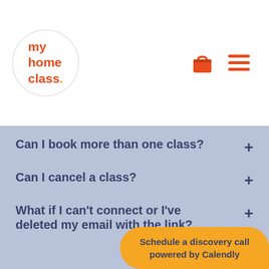[Figure (logo): My Home Class logo — circular white background with red text 'my home class.' and an orange dot]
Can I book more than one class?
Can I cancel a class?
What if I can't connect or I've deleted my email with the link?
Schedule a discovery call
powered by Calendly